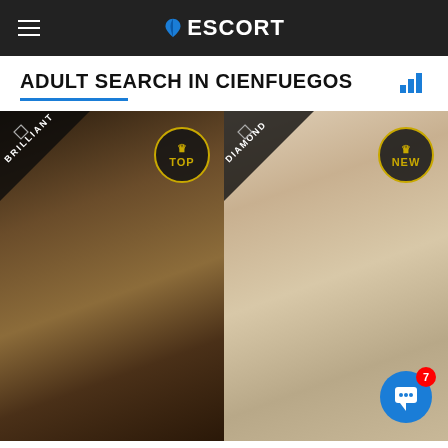ESCORT
ADULT SEARCH IN CIENFUEGOS
[Figure (photo): Left card: woman in black lingerie with BRILLIANT ribbon badge and TOP circular badge]
[Figure (photo): Right card: blonde woman with DIAMOND ribbon badge and NEW circular badge, with chat button overlay]